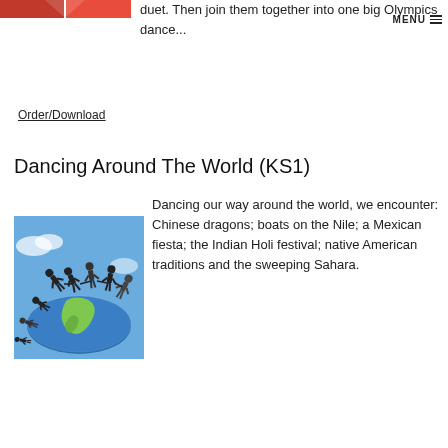[Figure (photo): Partial red and white image at top left, appears to be an Olympics or sports-related graphic]
duet. Then join them together into one big Olympics dance...
Order/Download
Dancing Around The World (KS1)
[Figure (photo): Illustration of silhouette figures holding hands in a circle around a globe/Earth, with blue sky and clouds background]
Dancing our way around the world, we encounter: Chinese dragons; boats on the Nile; a Mexican fiesta; the Indian Holi festival; native American traditions and the sweeping Sahara.